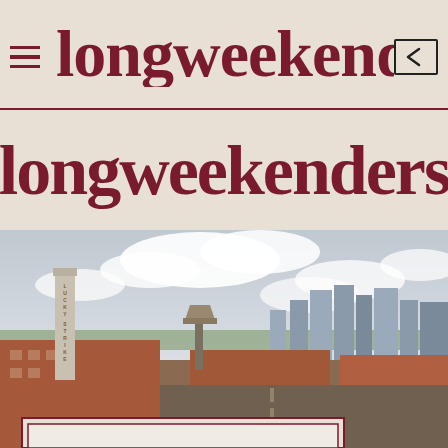longweekenders
longweekenders
[Figure (photo): Aerial cityscape photo showing the Lucky Strike smokestack and water tower in the foreground with brick industrial buildings along a street, and downtown Richmond, Virginia skyline in the background under a cloudy sky.]